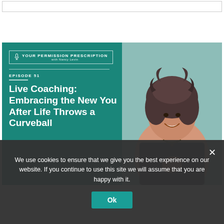[Figure (other): Top navigation bar placeholder — white rectangle with thin gray border]
[Figure (illustration): Podcast episode cover art for 'Your Permission Prescription with Nancy Levin', Episode 51: Live Coaching: Embracing the New You After Life Throws a Curveball. Teal/green background with podcast logo in top-left white border box, episode number, episode title text in white, and a photo of a smiling woman with curly gray hair wearing a black sleeveless top, hands pressed together.]
We use cookies to ensure that we give you the best experience on our website. If you continue to use this site we will assume that you are happy with it.
Ok